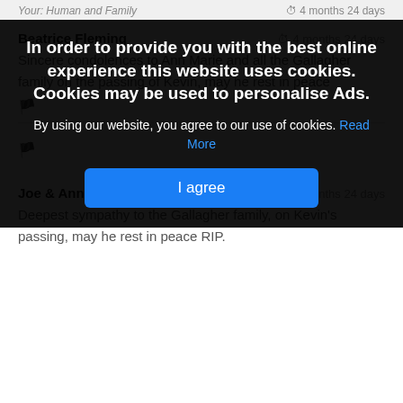Beatrice Fleming · 4 months 24 days
Sincere condolences to Ann Marie and all the Gallagher family on the passing of Kevin, may he rest in peace
In order to provide you with the best online experience this website uses cookies. Cookies may be used to personalise Ads.
By using our website, you agree to our use of cookies. Read More
I agree
Joe & Ann Freyne, Charlestown · 4 months 24 days
Deepest sympathy to the Gallagher family, on Kevin's passing, may he rest in peace RIP.